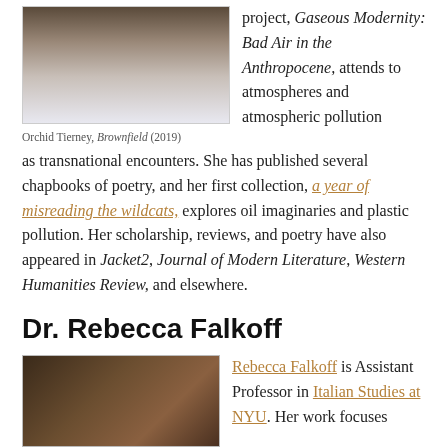[Figure (photo): Photo of artwork by Orchid Tierney, Brownfield (2019) — appears to show an animal]
Orchid Tierney, Brownfield (2019)
project, Gaseous Modernity: Bad Air in the Anthropocene, attends to atmospheres and atmospheric pollution as transnational encounters. She has published several chapbooks of poetry, and her first collection, a year of misreading the wildcats, explores oil imaginaries and plastic pollution. Her scholarship, reviews, and poetry have also appeared in Jacket2, Journal of Modern Literature, Western Humanities Review, and elsewhere.
Dr. Rebecca Falkoff
[Figure (photo): Photo of Rebecca Falkoff — interior architectural scene with chandelier, sepia tones]
Rebecca Falkoff is Assistant Professor in Italian Studies at NYU. Her work focuses